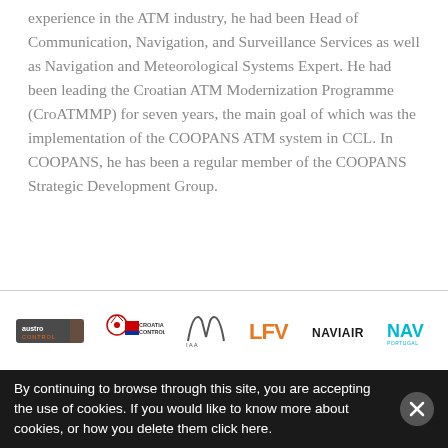experience in the ATM industry, he had been Head of Communication, Navigation, and Surveillance Services as well as Navigation and Meteorological Systems Expert. He had been leading the Croatian ATM Modernization Programme (CroATMMP) for seven years, the main goal of which was the implementation of the COOPANS ATM system in CCL. In COOPANS, he has been a regular member of the COOPANS Strategic Development Group.
[Figure (logo): Partner logos: Austro Control, Croatia Control, IAA, LFV, NAVIAIR, NAV Portugal]
By continuing to browse through this site, you are accepting the use of cookies. If you would like to know more about cookies, or how you delete them click here.